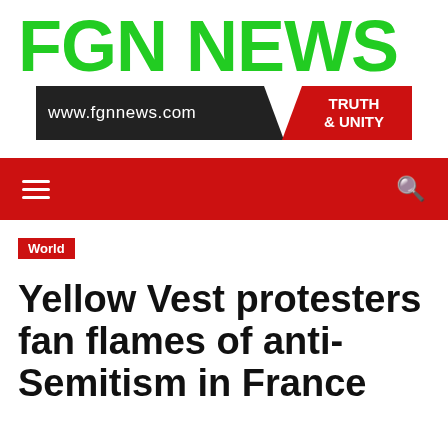FGN NEWS
www.fgnnews.com
TRUTH & UNITY
Navigation bar with hamburger menu and search icon
World
Yellow Vest protesters fan flames of anti-Semitism in France